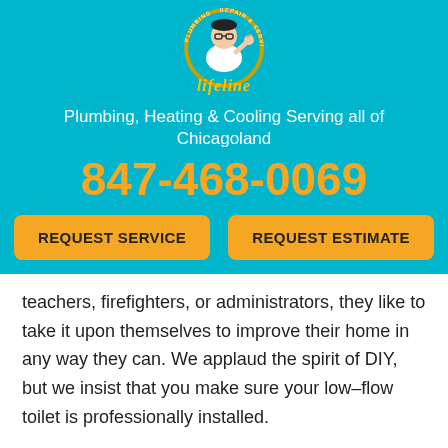[Figure (logo): Lifeline Plumbing, Heating & Cooling logo — cartoon plumber in a circular badge with gold script 'Lifeline' text below]
Plumbing, Heating & Cooling Serving all of Chicagoland
847-468-0069
REQUEST SERVICE
REQUEST ESTIMATE
teachers, firefighters, or administrators, they like to take it upon themselves to improve their home in any way they can. We applaud the spirit of DIY, but we insist that you make sure your low–flow toilet is professionally installed.
There's little room for error when it comes to installing a new toilet or replacing your old one. In the wrong